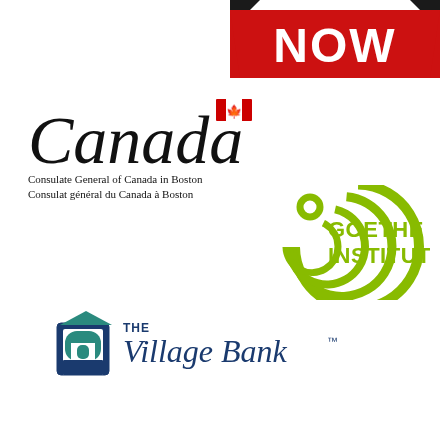[Figure (logo): NOW logo — white bold text 'NOW' on a red banner/ribbon background with black accents at corners]
[Figure (logo): Canada wordmark with red maple leaf flag symbol above the letter 'a', with text below: 'Consulate General of Canada in Boston / Consulat général du Canada à Boston']
[Figure (logo): Goethe Institut logo — green concentric spiral/arc shape on left with a green circle, and bold green text 'GOETHE INSTITUT' on right]
[Figure (logo): The Village Bank logo — blue and teal building/arch icon on left with text 'THE Village Bank' in blue and navy, with trademark symbol]